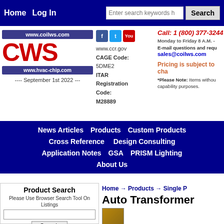Home | Log In | Enter search keywords | Search
[Figure (logo): CWS company logo with www.coilws.com and www.hvac-chip.com URLs, September 1st 2022 date]
www.ccr.gov CAGE Code: 5DME2 ITAR Registration Code: M28889
Call: 1 (800) 377-3244
Monday to Friday 8 A.M. -
E-mail questions and requests:
sales@coilws.com
Pricing is subject to change
*Please Note: Items without capability purposes.
News Articles | Products | Custom Products | Cross Reference | Design Consulting | Application Notes | GSA | PRISM Lighting | About Us
Product Search
Please Use Browser Search Tool On Listings
Home → Products → Single P
Auto Transformer